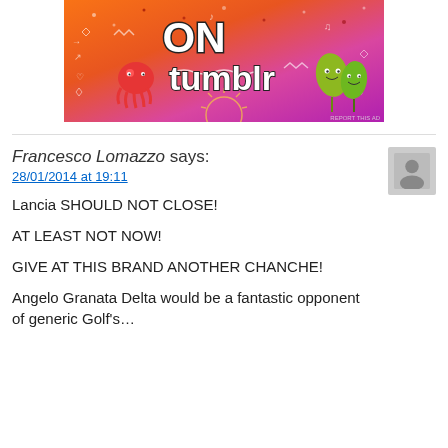[Figure (illustration): Tumblr advertisement banner with colorful orange-to-pink gradient background, white doodles and icons, large white text reading 'ON tumblr', cartoon octopus on left, cartoon leaf characters on right, 'REPORT THIS AD' text in bottom right corner]
Francesco Lomazzo says:
28/01/2014 at 19:11
Lancia SHOULD NOT CLOSE!
AT LEAST NOT NOW!
GIVE AT THIS BRAND ANOTHER CHANCHE!
Angelo Granata Delta would be a fantastic opponent of generic Golf's…